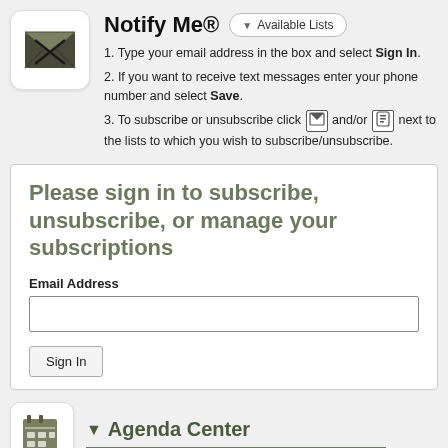Notify Me®
1. Type your email address in the box and select Sign In.
2. If you want to receive text messages enter your phone number and select Save.
3. To subscribe or unsubscribe click [email icon] and/or [phone icon] next to the lists to which you wish to subscribe/unsubscribe.
Please sign in to subscribe, unsubscribe, or manage your subscriptions
Email Address
▼ Agenda Center